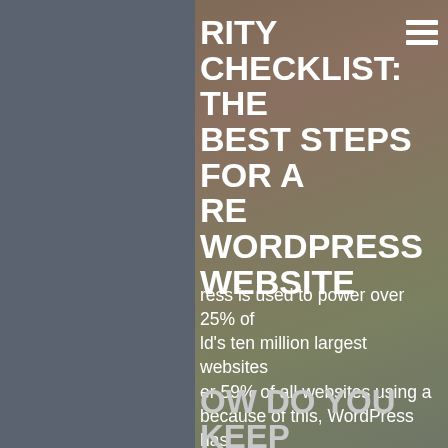RITY CHECKLIST: THE BEST STEPS FOR A RE WORDPRESS WEBSITE
ress is used to power over 25% of ld's ten million largest websites er 59% of all websites using a because of this, WordPress has e a target for hackers and bots.
e of Contents
OW DO YOU KEEP YOUR WEBSITE